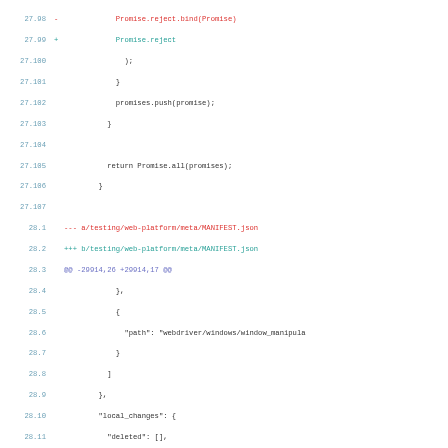[Figure (screenshot): Code diff showing JavaScript and JSON file changes with line numbers, additions in green/teal and deletions in red]